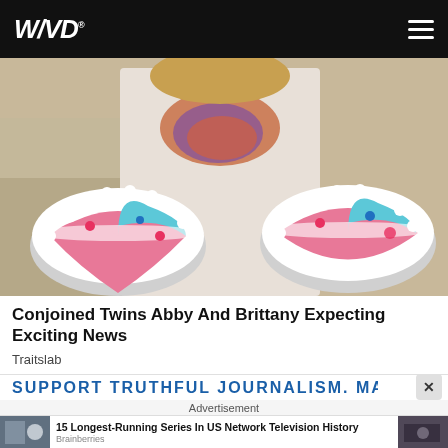WND
[Figure (photo): Person holding two birthday cakes decorated in pink and blue frosting with white dot borders, wearing a colorful scarf]
Conjoined Twins Abby And Brittany Expecting Exciting News
Traitslab
SUPPORT TRUTHFUL JOURNALISM. MAKE A
Advertisement
15 Longest-Running Series In US Network Television History
Brainberries